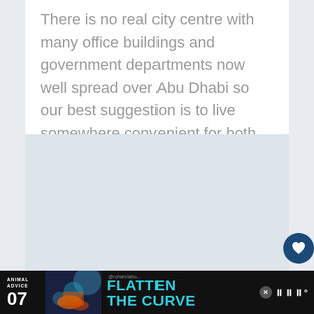There is no real city centre with many office buildings and government departments now well spread over Abu Dhabi so our best suggestion is to live somewhere convenient for both work and schooling.
[Figure (other): Blank/placeholder image area with light blue-grey background, UI overlay elements including a heart (favorites) button in dark navy, a share button in white, and a 'What's Next' panel showing a thumbnail and text 'Family Staycation a...']
[Figure (screenshot): Advertisement banner at the bottom: dark background with 'ANIMAL ADVICE 07', colorful illustrated art, large text 'FLATTEN THE CURVE' in teal, @rohandaho handle, close button, and app logo marks.]